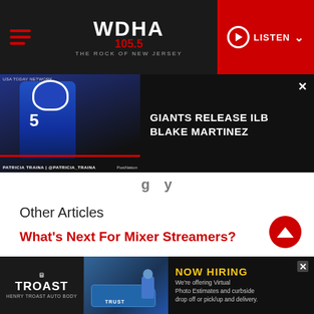WDHA 105.5 THE ROCK OF NEW JERSEY — LISTEN
[Figure (screenshot): Video thumbnail showing NFL player in blue Giants uniform with overlay text: GIANTS RELEASE ILB BLAKE MARTINEZ. Credit: PATRICIA TRAINA | @PATRICIA_TRAINA. Close button top right.]
Other Articles
What's Next For Mixer Streamers?
Is Season 3 of Fortnite the One That Finally Makes Me Buy-In?
[Figure (screenshot): Advertisement banner for Henry Troast Auto Body: NOW HIRING — We're offering Virtual Photo Estimates and curbside drop off or pick/up and delivery. Features TROAST logo and photo of car with person.]